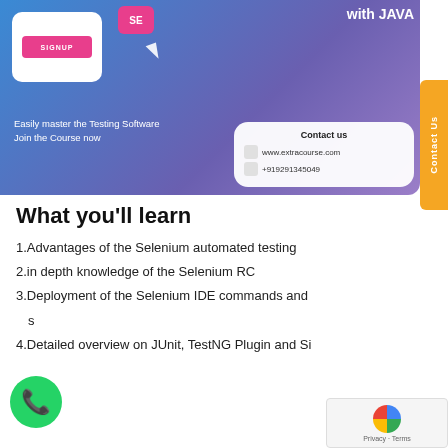[Figure (screenshot): Course banner with blue/purple gradient background showing Selenium with Java course. Includes white card with SIGNUP button, SE icon, cursor arrow, 'with JAVA' text, contact card with www.extracourse.com and +919291345049, and orange Contact Us side tab.]
Easily master the Testing Software
Join the Course now
Contact us
www.extracourse.com
+919291345049
What you'll learn
1.Advantages of the Selenium automated testing
2.in depth knowledge of the Selenium RC
3.Deployment of the Selenium IDE commands and
s
4.Detailed overview on JUnit, TestNG Plugin and Si